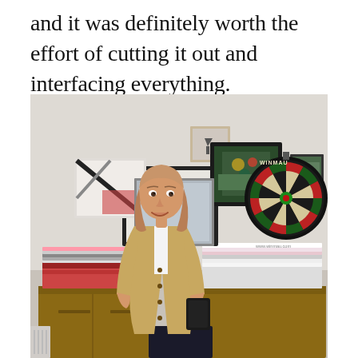and it was definitely worth the effort of cutting it out and interfacing everything.
[Figure (photo): A woman with light brown hair wearing a beige trench coat over a white shirt, standing in a room with framed pictures on the wall behind her and a dartboard (Winmau brand) on the right. Books and a bag are stacked on a wooden sideboard behind her.]